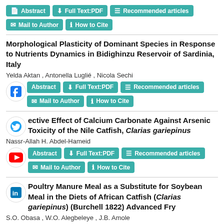[Figure (screenshot): Navigation buttons: Abstract, Full Text:PDF, Recommended articles, Mail to Author, How to Cite]
Morphological Plasticity of Dominant Species in Response to Nutrients Dynamics in Bidighinzu Reservoir of Sardinia, Italy
Yelda Aktan , Antonella Luglié , Nicola Sechi
[Figure (screenshot): Social share overlay (Facebook icon) with buttons: Abstract, Full Text:PDF, Recommended articles, Mail to Author, How to Cite]
Protective Effect of Calcium Carbonate Against Arsenic Toxicity of the Nile Catfish, Clarias gariepinus
Nassr-Allah H. Abdel-Hameid
[Figure (screenshot): Social share overlay (YouTube icon) with buttons: Abstract, Full Text:PDF, Recommended articles, Mail to Author, How to Cite]
Poultry Manure Meal as a Substitute for Soybean Meal in the Diets of African Catfish (Clarias gariepinus) (Burchell 1822) Advanced Fry
S.O. Obasa , W.O. Alegbeleye , J.B. Amole